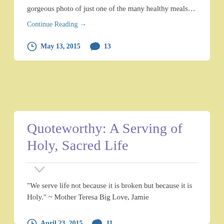gorgeous photo of just one of the many healthy meals…
Continue Reading →
May 13, 2015   13
Quoteworthy: A Serving of Holy, Sacred Life
"We serve life not because it is broken but because it is Holy." ~ Mother Teresa Big Love, Jamie
April 23, 2015   11